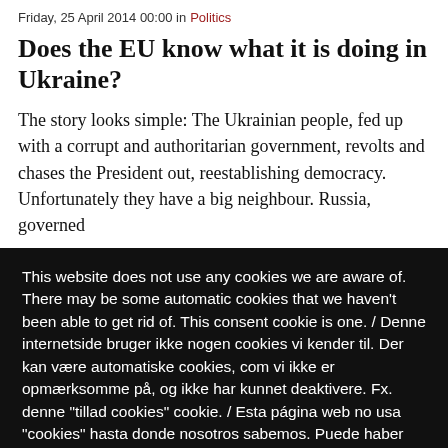Friday, 25 April 2014 00:00 in Politics
Does the EU know what it is doing in Ukraine?
The story looks simple: The Ukrainian people, fed up with a corrupt and authoritarian government, revolts and chases the President out, reestablishing democracy. Unfortunately they have a big neighbour. Russia, governed
This website does not use any cookies we are aware of. There may be some automatic cookies that we haven't been able to get rid of. This consent cookie is one. / Denne internetside bruger ikke nogen cookies vi kender til. Der kan være automatiske cookies, com vi ikke er opmærksomme på, og ikke har kunnet deaktivere. Fx. denne "tillad cookies" cookie. / Esta página web no usa "cookies" hasta donde nosotros sabemos. Puede haber algunas "cookies" que no conocemos o que no hemos podido desactivar. Por
Decline/Rechazar
Allow cookies/ Aceptar cookies